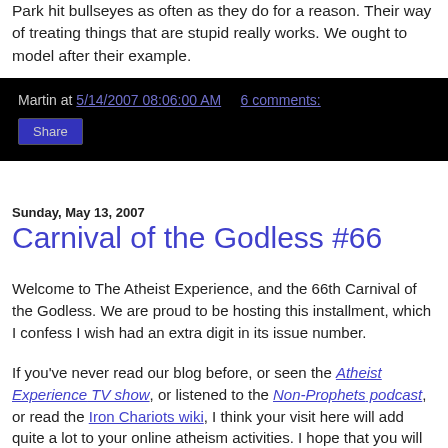Park hit bullseyes as often as they do for a reason. Their way of treating things that are stupid really works. We ought to model after their example.
Martin at 5/14/2007 08:06:00 AM   6 comments:
Share
Sunday, May 13, 2007
Carnival of the Godless #66
Welcome to The Atheist Experience, and the 66th Carnival of the Godless. We are proud to be hosting this installment, which I confess I wish had an extra digit in its issue number.
If you've never read our blog before, or seen the Atheist Experience TV show, or listened to the Non-Prophets podcast, or read the Iron Chariots wiki, I think your visit here will add quite a lot to your online atheism activities. I hope that you will excuse the liberal dose of self-pimpage, but below is a quick "best-of" compendium of AE blog entries from the last few years, which I hope you'll enjoy reading...